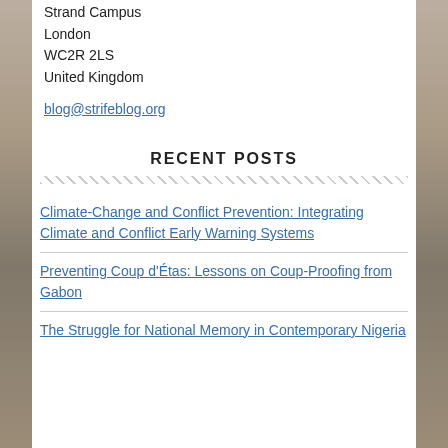Strand Campus
London
WC2R 2LS
United Kingdom
blog@strifeblog.org
RECENT POSTS
Climate-Change and Conflict Prevention: Integrating Climate and Conflict Early Warning Systems
Preventing Coup d'Étas: Lessons on Coup-Proofing from Gabon
The Struggle for National Memory in Contemporary Nigeria